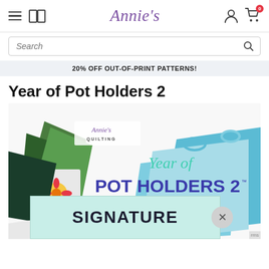Annie's - navigation header with hamburger menu, book icon, Annie's logo, user icon, and cart with 0 items
Search
20% OFF OUT-OF-PRINT PATTERNS!
Year of Pot Holders 2
[Figure (illustration): Book cover for 'Year of Pot Holders 2 - 52 Weeks of Skill Building Patterns' by Annie's Quilting, showing colorful quilted pot holders]
SIGNATURE